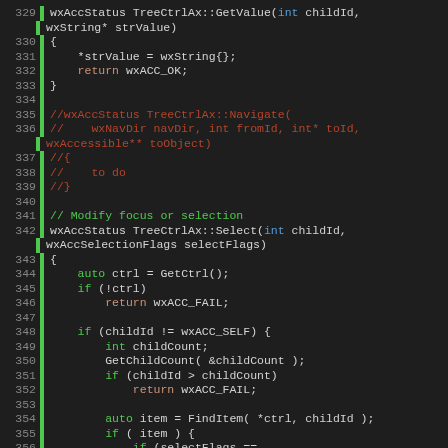[Figure (screenshot): Source code editor screenshot showing C++ code for wxAccessibility TreeCtrlAx class methods, lines 329-358, with syntax highlighting on dark background. Lines include GetValue, Navigate (commented out), and Select methods.]